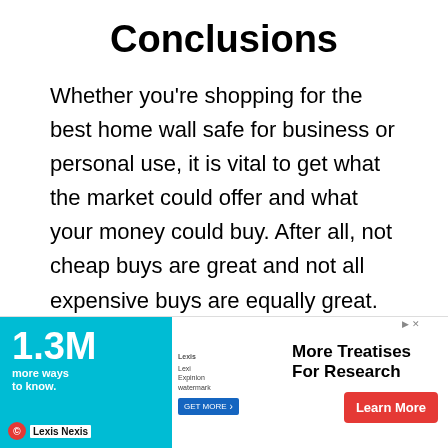Conclusions
Whether you’re shopping for the best home wall safe for business or personal use, it is vital to get what the market could offer and what your money could buy. After all, not cheap buys are great and not all expensive buys are equally great. This guide wishes to help you with finding the brand that works for you best – it should at least keep the things you value the safest.
Most of these safes are very easy to place.
[Figure (other): Advertisement banner for Lexis Nexis: '1.3M more ways to know' with cyan background, LexisNexis logo, text 'More Treatises For Research' and a red 'Learn More' button]